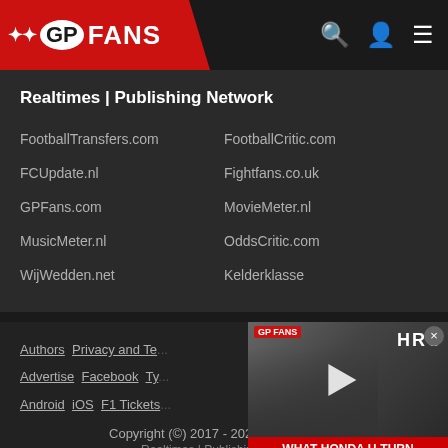GP FANS
Realtimes | Publishing Network
FootballTransfers.com
FootballCritic.com
FCUpdate.nl
Fightfans.co.uk
GPFans.com
MovieMeter.nl
MusicMeter.nl
OddsCritic.com
WijWedden.net
Kelderklasse
Authors | Privacy and Te... | Advertise | Facebook | Ty... | Android | iOS | F1 Tickets...
[Figure (screenshot): Video thumbnail showing people at a racing event with text 'WHAT HONDA U-TURN MEANS FOR RED BULL' and HRC branding]
Copyright (C) 2017 - 2022 GPFans.com
Realtimes | Publishing Network